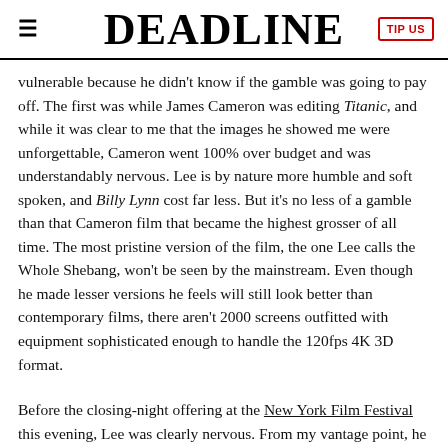DEADLINE
vulnerable because he didn't know if the gamble was going to pay off. The first was while James Cameron was editing Titanic, and while it was clear to me that the images he showed me were unforgettable, Cameron went 100% over budget and was understandably nervous. Lee is by nature more humble and soft spoken, and Billy Lynn cost far less. But it's no less of a gamble than that Cameron film that became the highest grosser of all time. The most pristine version of the film, the one Lee calls the Whole Shebang, won't be seen by the mainstream. Even though he made lesser versions he feels will still look better than contemporary films, there aren't 2000 screens outfitted with equipment sophisticated enough to handle the 120fps 4K 3D format.
Before the closing-night offering at the New York Film Festival this evening, Lee was clearly nervous. From my vantage point, he had done something I've never seen before, erasing the distance that flickering images brings with something more intimate: a